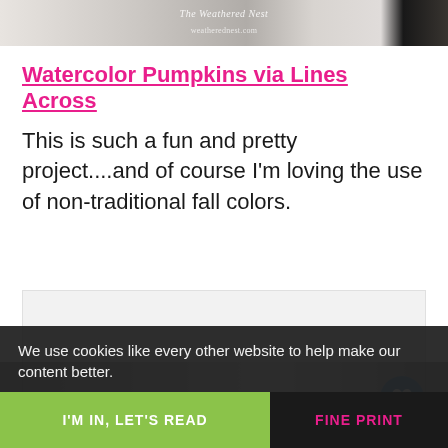[Figure (photo): Top strip of a photo showing what appears to be an animal (black and white pattern), with a watermark reading 'The Weathered Nest' and 'weatherednest.com']
Watercolor Pumpkins via Lines Across
This is such a fun and pretty project....and of course I'm loving the use of non-traditional fall colors.
[Figure (photo): Partial image placeholder area (light gray), partially obscured by cookie consent banner]
We use cookies like every other website to help make our content better.
I'M IN, LET'S READ
FINE PRINT